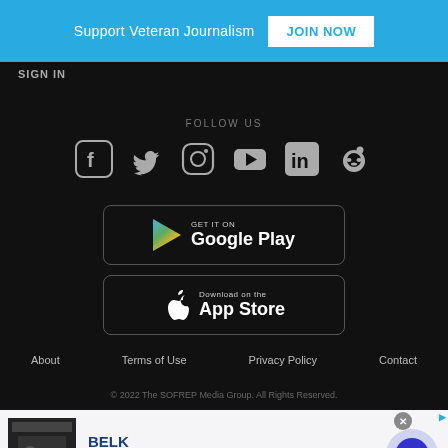Support Veteran Journalism  JOIN NOW
SIGN IN
FOLLOW US
[Figure (illustration): Social media icons row: Facebook, Twitter, Instagram, YouTube, LinkedIn, Reddit]
[Figure (illustration): Google Play store download button]
[Figure (illustration): Apple App Store download button]
About  Terms of Use  Privacy Policy  Contact
© 2022 The SOFREP Media Group. All Rights Reserved.
[Figure (other): Advertisement banner: BELK - Denim all day. www.belk.com]